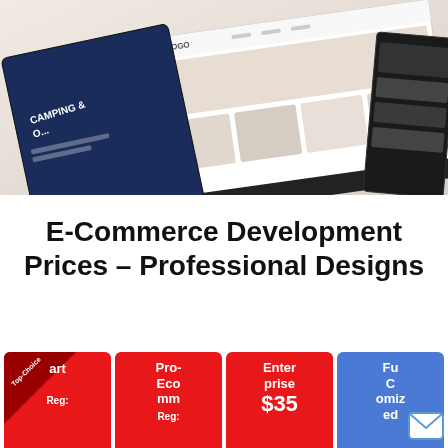[Figure (screenshot): Hero image showing e-commerce website design mockups displayed on tablet-like screens at an angle. Shows website templates including a camping/outdoor store and furniture/home decor stores.]
E-Commerce Development Prices – Professional Designs
[Figure (infographic): Pricing cards row showing four options: Smart/Top-Choice (red with top-choice badge), Pro-Ecommerce (red), Enterprise $35 (red), and Fully Customized (blue with email icon). Each card shows Reg: pricing labels.]